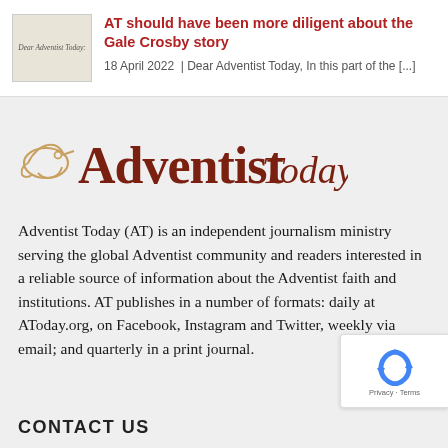[Figure (screenshot): Thumbnail image of Dear Adventist Today article card with small logo text]
AT should have been more diligent about the Gale Crosby story
18 April 2022  | Dear Adventist Today, In this part of the [...]
[Figure (logo): Adventist Today logo with bird icon and large brown Adventist Today wordmark]
Adventist Today (AT) is an independent journalism ministry serving the global Adventist community and readers interested in a reliable source of information about the Adventist faith and institutions. AT publishes in a number of formats: daily at AToday.org, on Facebook, Instagram and Twitter, weekly via email; and quarterly in a print journal.
[Figure (other): reCAPTCHA badge with Privacy and Terms links]
CONTACT US